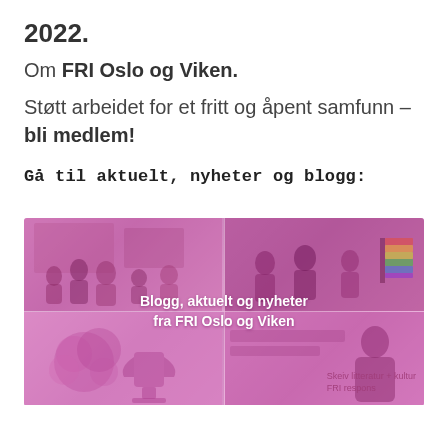2022.
Om FRI Oslo og Viken.
Støtt arbeidet for et fritt og åpent samfunn – bli medlem!
Gå til aktuelt, nyheter og blogg:
[Figure (photo): A composite of four photos with a pink/magenta overlay arranged in a 2x2 grid. The center shows the text 'Blogg, aktuelt og nyheter fra FRI Oslo og Viken'. Top-left shows group of people indoors. Top-right shows people with pride flags. Bottom-left shows decorative floral arrangement. Bottom-right shows text 'Skeiv litteratur + kultur FRI respons' with a person.]